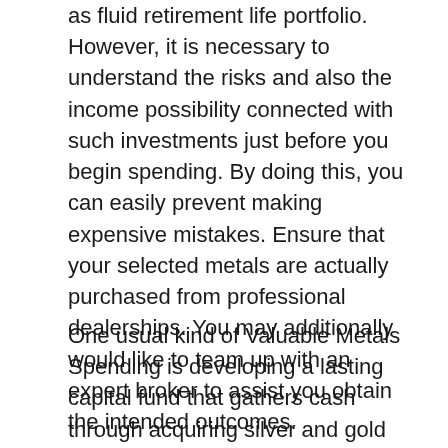as fluid retirement life portfolio. However, it is necessary to understand the risks and also the income possibility connected with such investments just before you begin spending. By doing this, you can easily prevent making expensive mistakes. Ensure that your selected metals are actually purchased from professional dealerships. You may additionally would like to team up with an expert broker to assist you obtain the intended outcomes.
One usual kind of Valuable Metals Spending is developing a lasting capital fund that gathers cash through acquiring silver and gold gold or even by keeping other physical resources such as pieces. A well taken care of precious metals fund can ultimately offer